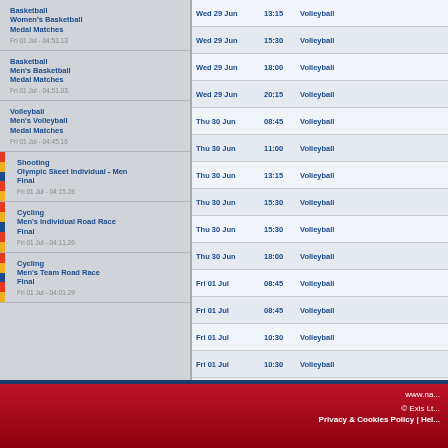| Sport/Event | Date/Time |
| --- | --- |
| Basketball
Women's Basketball Medal Matches | Fri 01 Jul - 04:53.13 |
| Basketball
Men's Basketball Medal Matches | Fri 01 Jul - 04:51.03 |
| Volleyball
Men's Volleyball Medal Matches | Fri 01 Jul - 04:45.16 |
| Shooting
Olympic Skeet Individual - Men Final | Fri 01 Jul - 04:15.28 |
| Cycling
Men's Individual Road Race Final | Fri 01 Jul - 04:11.26 |
| Cycling
Men's Team Road Race Final | Fri 01 Jul - 04:01.29 |
| Date | Time | Sport |
| --- | --- | --- |
| Wed 29 Jun | 13:15 | Volleyball |
| Wed 29 Jun | 15:30 | Volleyball |
| Wed 29 Jun | 18:00 | Volleyball |
| Wed 29 Jun | 20:15 | Volleyball |
| Thu 30 Jun | 08:45 | Volleyball |
| Thu 30 Jun | 11:00 | Volleyball |
| Thu 30 Jun | 13:15 | Volleyball |
| Thu 30 Jun | 15:30 | Volleyball |
| Thu 30 Jun | 15:30 | Volleyball |
| Thu 30 Jun | 18:00 | Volleyball |
| Fri 01 Jul | 08:45 | Volleyball |
| Fri 01 Jul | 08:45 | Volleyball |
| Fri 01 Jul | 10:30 | Volleyball |
| Fri 01 Jul | 10:30 | Volleyball |
| Fri 01 Jul | 12:15 | Volleyball |
| Fri 01 Jul | 12:15 | Volleyball |
www.na...
© Exis Lt...
Privacy & Cookies Policy | Hel...